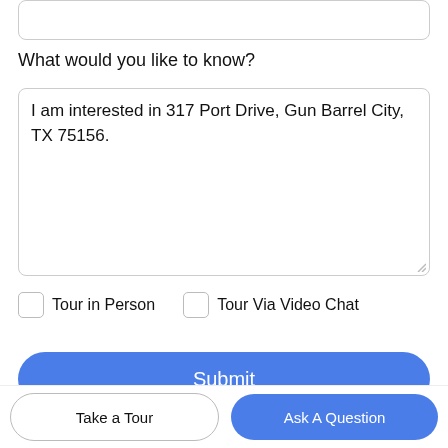What would you like to know?
I am interested in 317 Port Drive, Gun Barrel City, TX 75156.
Tour in Person
Tour Via Video Chat
Submit
Disclaimer: By entering your information and submitting this form, you agree to our Terms of Use and Privacy Policy and that you may be contacted by
Take a Tour
Ask A Question